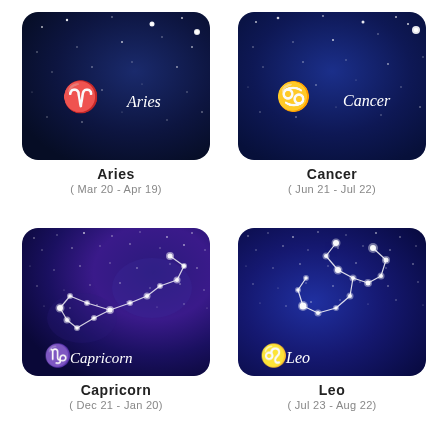[Figure (illustration): Aries zodiac card with dark blue starry night background, Aries symbol and cursive text]
Aries
( Mar 20 - Apr 19)
[Figure (illustration): Cancer zodiac card with dark blue starry night background, Cancer symbol and text]
Cancer
( Jun 21 - Jul 22)
[Figure (illustration): Capricorn zodiac card with purple-blue starry background showing constellation lines and stars, Capricorn symbol and cursive text]
Capricorn
( Dec 21 - Jan 20)
[Figure (illustration): Leo zodiac card with dark blue starry background showing Leo constellation lines and stars, Leo symbol and text]
Leo
( Jul 23 - Aug 22)